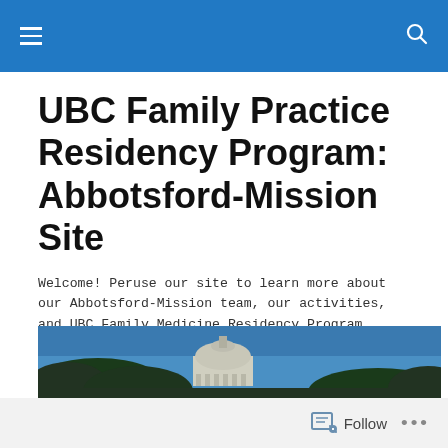UBC Family Practice Residency Program: Abbotsford-Mission Site
UBC Family Practice Residency Program: Abbotsford-Mission Site
Welcome! Peruse our site to learn more about our Abbotsford-Mission team, our activities, and UBC Family Medicine Residency Program.
Covid-19: The toll on Filipino American Nurses
[Figure (photo): Photograph showing the US Capitol building dome against a blue sky with trees in the foreground]